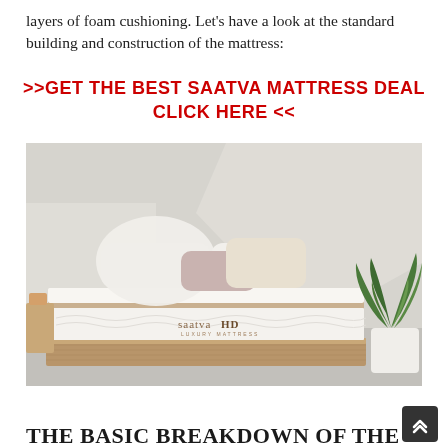layers of foam cushioning. Let's have a look at the standard building and construction of the mattress:
>>GET THE BEST SAATVA MATTRESS DEAL CLICK HERE <<
[Figure (photo): SaatvaHD luxury mattress on a wooden bed frame in a bright bedroom with pillows and a potted palm plant]
THE BASIC BREAKDOWN OF THE